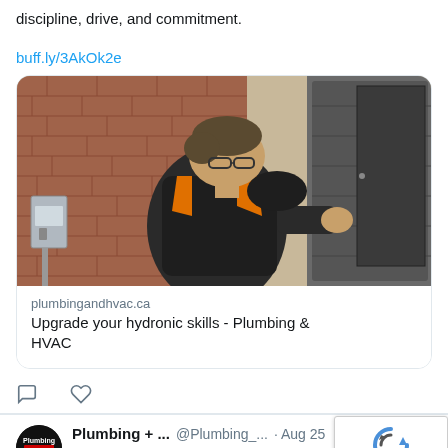discipline, drive, and commitment.
buff.ly/3AkOk2e
[Figure (photo): A technician in a dark shirt with orange details leaning over to inspect or work on a piece of HVAC equipment mounted on a brick wall exterior.]
plumbingandhvac.ca
Upgrade your hydronic skills - Plumbing & HVAC
Plumbing + ... @Plumbing_... · Aug 25 Johnson Controls launches the MaxAlloy, new line of all-aluminum indoor residential ...